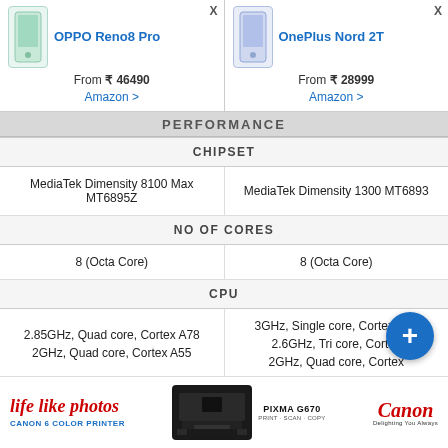| OPPO Reno8 Pro | OnePlus Nord 2T |
| --- | --- |
| From ₹ 46490
Amazon > | From ₹ 28999
Amazon > |
| CHIPSET | CHIPSET |
| MediaTek Dimensity 8100 Max MT6895Z | MediaTek Dimensity 1300 MT6893 |
| NO OF CORES | NO OF CORES |
| 8 (Octa Core) | 8 (Octa Core) |
| CPU | CPU |
| 2.85GHz, Quad core, Cortex A78
2GHz, Quad core, Cortex A55 | 3GHz, Single core, Cortex A78
2.6GHz, Tri core, Cortex
2GHz, Quad core, Cortex |
| ARCHITECTURE | ARCHITECTURE |
[Figure (other): Canon life like photos advertisement banner with printer image, PIXMA G670 text, and Canon Delighting You Always tagline]